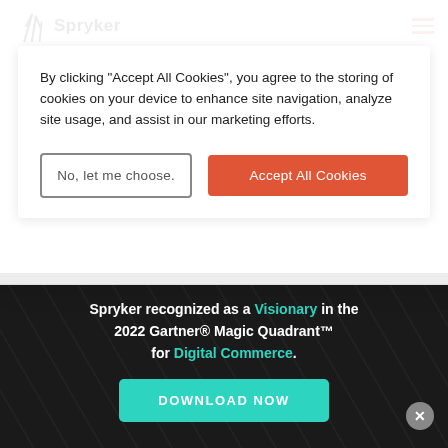Spryker
By clicking "Accept All Cookies", you agree to the storing of cookies on your device to enhance site navigation, analyze site usage, and assist in our marketing efforts.
No, let me choose.
Accept All Cookies
Spryker recognized as a Visionary in the 2022 Gartner® Magic Quadrant™ for Digital Commerce.
DOWNLOAD NOW